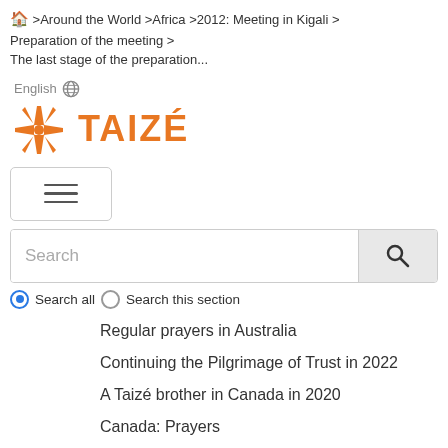🏠 > Around the World > Africa > 2012: Meeting in Kigali > Preparation of the meeting > The last stage of the preparation...
English 🌐
[Figure (logo): Taizé logo with orange star/cross icon and orange bold text TAIZÉ]
[Figure (other): Hamburger menu button with three horizontal lines]
Search
Regular prayers in Australia
Continuing the Pilgrimage of Trust in 2022
A Taizé brother in Canada in 2020
Canada: Prayers
NZ: Prayers in Aotearoa-New Zealand